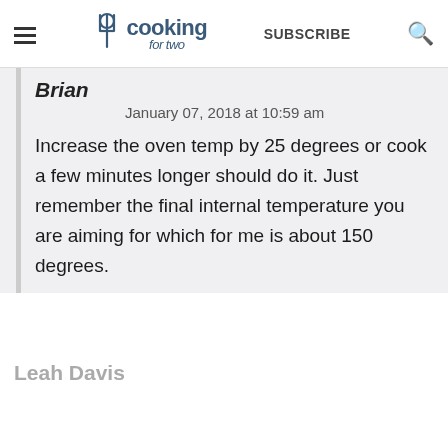cooking for two | SUBSCRIBE
Brian
January 07, 2018 at 10:59 am
Increase the oven temp by 25 degrees or cook a few minutes longer should do it. Just remember the final internal temperature you are aiming for which for me is about 150 degrees.
Leah Davis